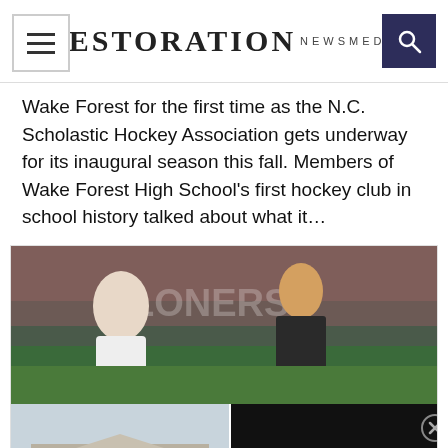RESTORATION NEWSMEDIA
Wake Forest for the first time as the N.C. Scholastic Hockey Association gets underway for its inaugural season this fall. Members of Wake Forest High School’s first hockey club in school history talked about what it…
[Figure (photo): Soccer players on field with crowd in background]
[Figure (photo): Government building exterior with play button overlay and EPA news banner reading: U.S. EPA to tackle utility emissions with new rules]
U.S. EPA to tackle utility emissions with new rules
Light  Dark